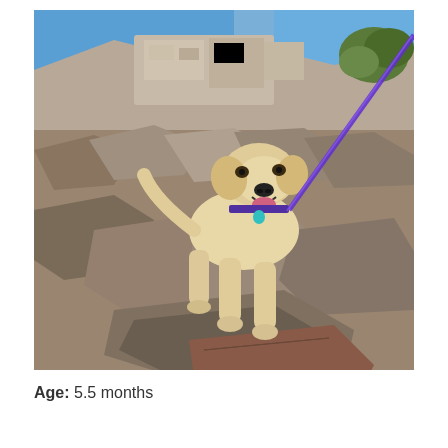[Figure (photo): A young yellow Labrador puppy on a leash standing on rocky terrain outdoors, appearing to climb over rocks. The background shows a rocky hillside with sparse vegetation and a blue sky. The puppy is wearing a collar and leash.]
Age: 5.5 months